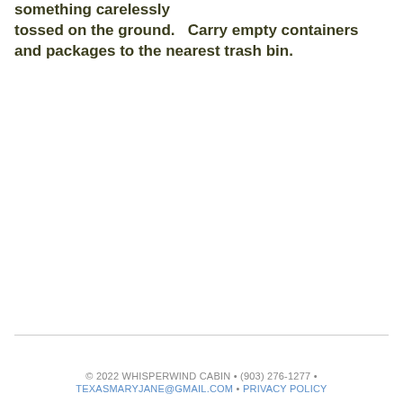something carelessly tossed on the ground.   Carry empty containers and packages to the nearest trash bin.
© 2022 WHISPERWIND CABIN • (903) 276-1277 • TEXASMARYJANE@GMAIL.COM • PRIVACY POLICY